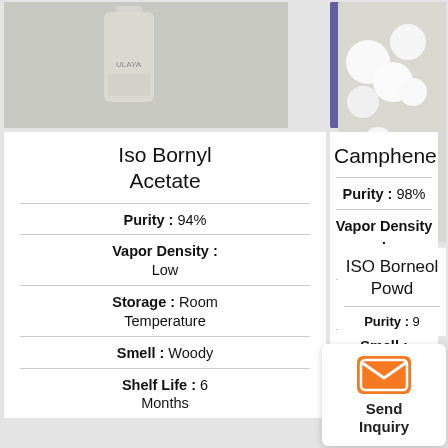[Figure (photo): Photo of a bottle of liquid chemical product (Iso Bornyl Acetate) on a table]
[Figure (photo): Photo of white solid cube-like pieces (Camphene) stacked together]
[Figure (photo): Photo of white fluffy powder/crystal material (ISO Borneol Powder)]
Iso Bornyl Acetate
Purity : 94%
Vapor Density : Low
Storage : Room Temperature
Smell : Woody
Shelf Life : 6 Months
Camphene
Purity : 98%
Vapor Density : 2.5%
Storage : Shades
Smell : Resinous
ISO Borneol Powd
Purity : 9
Send Inquiry